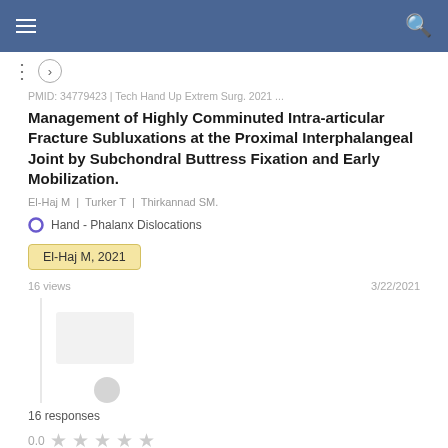PMID: 34779423 | Tech Hand Up Extrem Surg. 2021 ...
Management of Highly Comminuted Intra-articular Fracture Subluxations at the Proximal Interphalangeal Joint by Subchondral Buttress Fixation and Early Mobilization.
El-Haj M | Turker T | Thirkannad SM.
Hand - Phalanx Dislocations
El-Haj M, 2021
16 views   3/22/2021
16 responses
0.0 ★ ★ ★ ★ ★